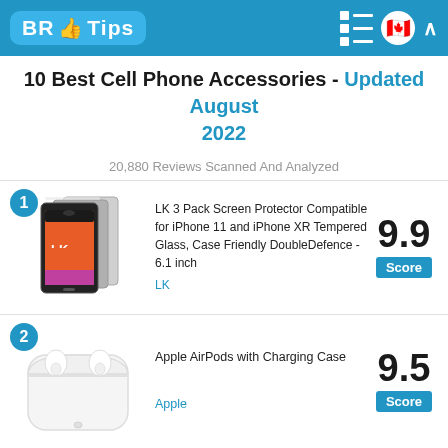BR Tips
10 Best Cell Phone Accessories - Updated August 2022
20,880 Reviews Scanned And Analyzed
1. LK 3 Pack Screen Protector Compatible for iPhone 11 and iPhone XR Tempered Glass, Case Friendly DoubleDefence - 6.1 inch | LK | Score: 9.9
2. Apple AirPods with Charging Case | Apple | Score: 9.5